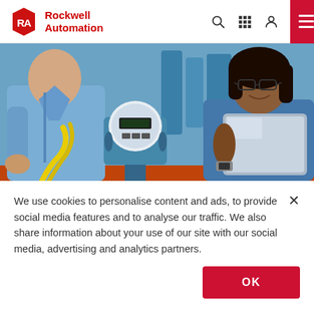Rockwell Automation
[Figure (photo): Two engineers in a manufacturing facility examining an industrial flow meter/gauge device. One person in a light blue shirt is on the left side, the other wearing blue scrubs and safety glasses is holding a tablet on the right. Industrial blue piping and equipment visible in background.]
We use cookies to personalise content and ads, to provide social media features and to analyse our traffic. We also share information about your use of our site with our social media, advertising and analytics partners.